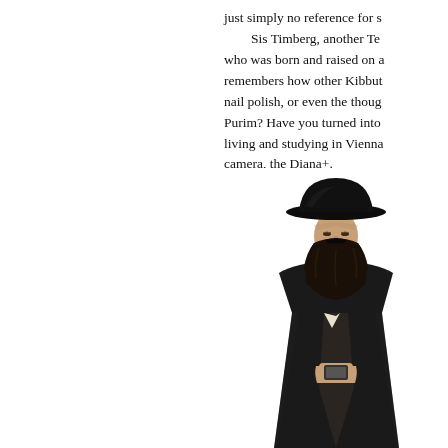just simply no reference for s[uch things]. Sis Timberg, another Te[l Aviv resident] who was born and raised on a[...], remembers how other Kibbut[z members...] nail polish, or even the thoug[ht of it...] Purim? Have you turned into [...] living and studying in Vienna [...] camera, the Diana+.
[Figure (photo): A bearded Orthodox Jewish man wearing a black wide-brimmed hat and a long black coat, looking down at something in his hands, photographed against a white background.]